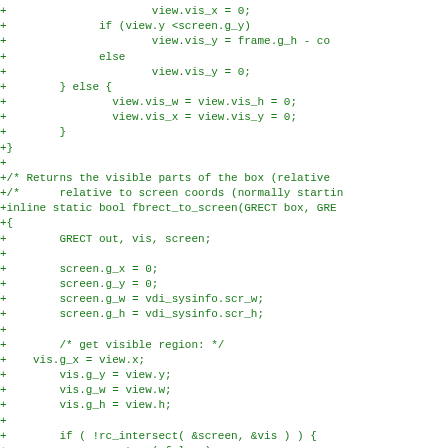[Figure (other): Source code diff showing C code additions for view visibility calculations and fbrect_to_screen function, displayed in green monospace font on white background]